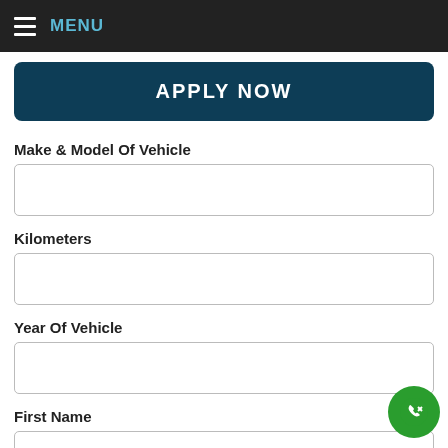MENU
APPLY NOW
Make & Model Of Vehicle
Kilometers
Year Of Vehicle
First Name